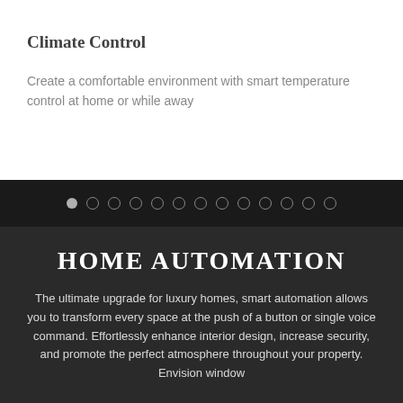Climate Control
Create a comfortable environment with smart temperature control at home or while away
[Figure (other): Carousel navigation dots — one filled/active dot followed by twelve empty circle dots on a dark bar]
HOME AUTOMATION
The ultimate upgrade for luxury homes, smart automation allows you to transform every space at the push of a button or single voice command. Effortlessly enhance interior design, increase security, and promote the perfect atmosphere throughout your property. Envision window